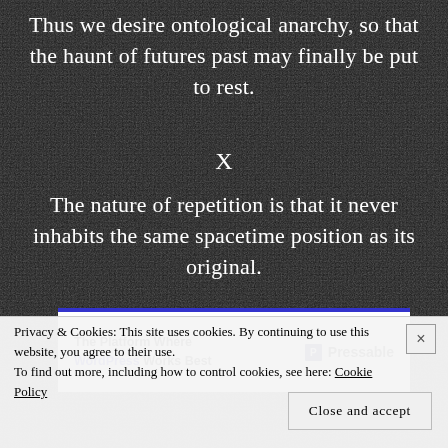Thus we desire ontological anarchy, so that the haunt of futures past may finally be put to rest.
X
The nature of repetition is that it never inhabits the same spacetime position as its original.
[Figure (screenshot): Advertisement banner for Pressable WordPress hosting with blue top border. Left side reads 'The Platform Where WordPress Works Best' with WordPress in blue bold. Right side shows Pressable logo with blue square P icon.]
Privacy & Cookies: This site uses cookies. By continuing to use this website, you agree to their use.
To find out more, including how to control cookies, see here: Cookie Policy